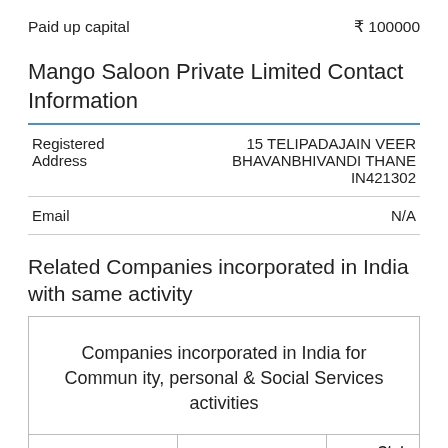Paid up capital   ₹ 100000
Mango Saloon Private Limited Contact Information
|  |  |
| --- | --- |
| Registered Address | 15 TELIPADAJAIN VEER BHAVANBHIVANDI THANE IN421302 |
| Email | N/A |
Related Companies incorporated in India with same activity
|  |  |  | Statu |
| --- | --- | --- | --- |
| Companies incorporated in India for Community, personal & Social Services activities |  |  |  |